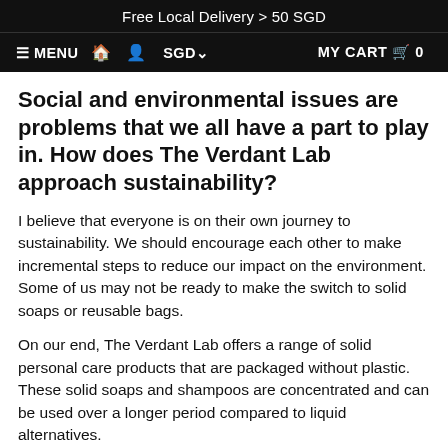Free Local Delivery > 50 SGD
≡ MENU  🏠  👤  SGD∨    MY CART 🛒  0
Social and environmental issues are problems that we all have a part to play in. How does The Verdant Lab approach sustainability?
I believe that everyone is on their own journey to sustainability. We should encourage each other to make incremental steps to reduce our impact on the environment. Some of us may not be ready to make the switch to solid soaps or reusable bags.
On our end, The Verdant Lab offers a range of solid personal care products that are packaged without plastic. These solid soaps and shampoos are concentrated and can be used over a longer period compared to liquid alternatives.